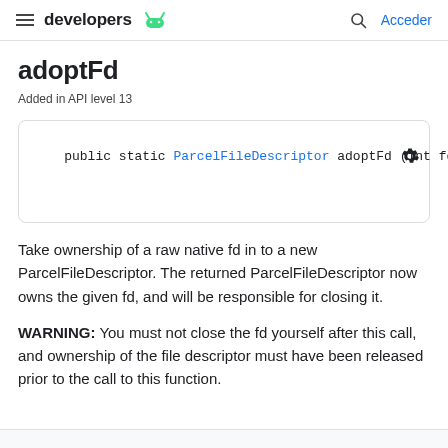developers   Acceder
adoptFd
Added in API level 13
public static ParcelFileDescriptor adoptFd (int fd)
Take ownership of a raw native fd in to a new ParcelFileDescriptor. The returned ParcelFileDescriptor now owns the given fd, and will be responsible for closing it.
WARNING: You must not close the fd yourself after this call, and ownership of the file descriptor must have been released prior to the call to this function.